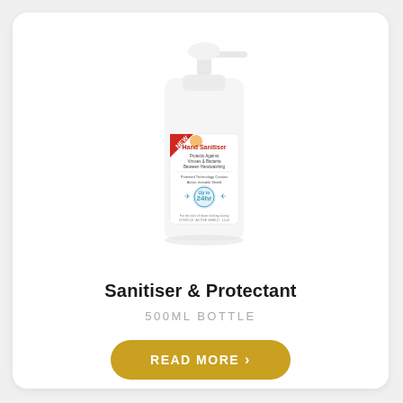[Figure (photo): A white pump-bottle of Hand Sanitiser & Protectant with label showing product details and 24hr protection icon]
Sanitiser & Protectant
500ML BOTTLE
READ MORE >